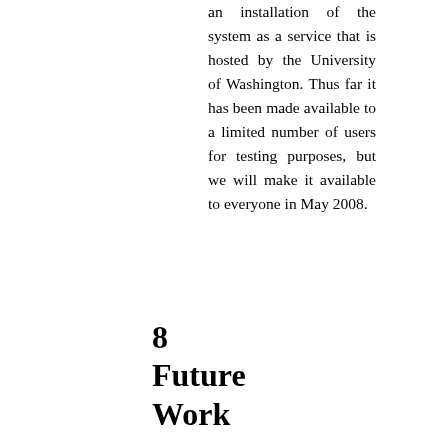an installation of the system as a service that is hosted by the University of Washington. Thus far it has been made available to a limited number of users for testing purposes, but we will make it available to everyone in May 2008.
8 Future Work